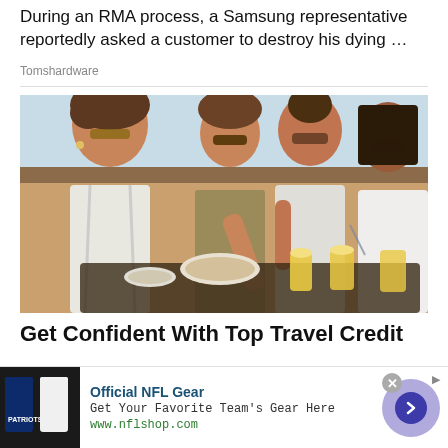During an RMA process, a Samsung representative reportedly asked a customer to destroy his dying …
Tomshardware
[Figure (photo): Photo of four people (three women and one man) outdoors, sharing food around a table with drinks, laughing and smiling.]
Get Confident With Top Travel Credit
Official NFL Gear
Get Your Favorite Team's Gear Here
www.nflshop.com